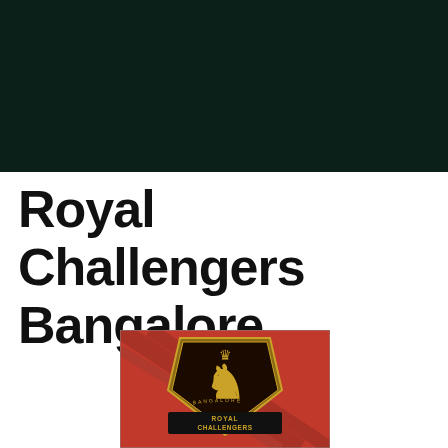[Figure (illustration): Dark green/teal background banner image occupying the top portion of the page]
Royal Challengers Bangalore
[Figure (logo): Royal Challengers Bangalore IPL team logo — gold lion rampant on a red shield background with 'ROYAL CHALLENGERS' text at the bottom]